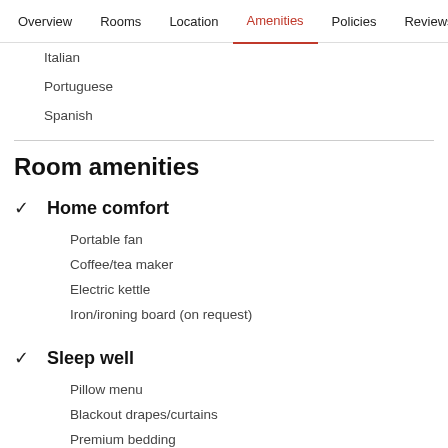Overview  Rooms  Location  Amenities  Policies  Reviews
Italian
Portuguese
Spanish
Room amenities
Home comfort
Portable fan
Coffee/tea maker
Electric kettle
Iron/ironing board (on request)
Sleep well
Pillow menu
Blackout drapes/curtains
Premium bedding